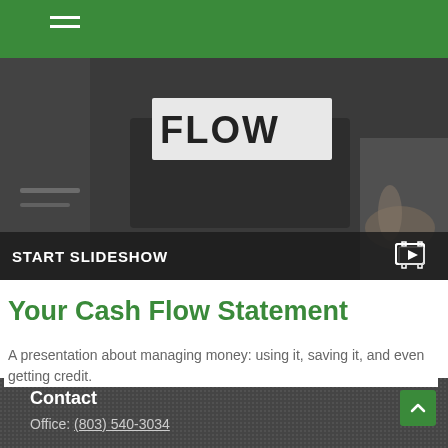[Figure (photo): Hero image showing a tablet/laptop on a desk with a blurred cash flow themed banner. A 'START SLIDESHOW' bar appears at the bottom of the image with a slideshow icon.]
Your Cash Flow Statement
A presentation about managing money: using it, saving it, and even getting credit.
Contact
Office: (803) 540-3034